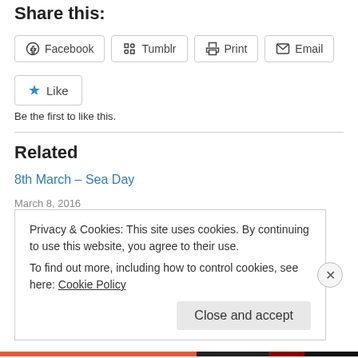Share this:
Facebook  Tumblr  Print  Email
Like
Be the first to like this.
Related
8th March  – Sea Day
March 8, 2016
20th January – Sea Day
January 20, 2016
Privacy & Cookies: This site uses cookies. By continuing to use this website, you agree to their use.
To find out more, including how to control cookies, see here: Cookie Policy
Close and accept